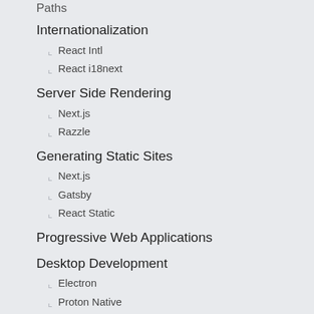Internationalization
React Intl
React i18next
Server Side Rendering
Next.js
Razzle
Generating Static Sites
Next.js
Gatsby
React Static
Progressive Web Applications
Desktop Development
Electron
Proton Native
Mobile Development